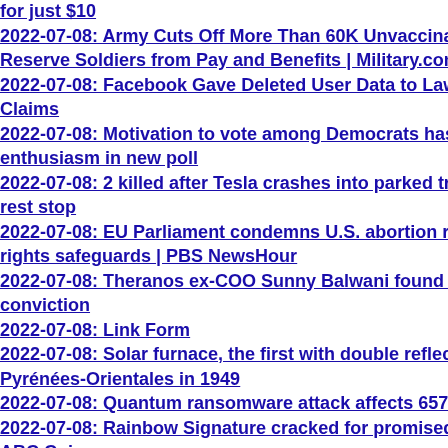for just $10
2022-07-08: Army Cuts Off More Than 60K Unvaccinated Guard, Reserve Soldiers from Pay and Benefits | Military.com
2022-07-08: Facebook Gave Deleted User Data to Law Enforcement, Memo Claims
2022-07-08: Motivation to vote among Democrats has overtaken Republican enthusiasm in new poll
2022-07-08: 2 killed after Tesla crashes into parked tractor-trailer at rest stop
2022-07-08: EU Parliament condemns U.S. abortion ruling, calls for rights safeguards | PBS NewsHour
2022-07-08: Theranos ex-COO Sunny Balwani found guilty on all counts of conviction
2022-07-08: Link Form
2022-07-08: Solar furnace, the first with double reflection mirrors in Pyrénées-Orientales in 1949
2022-07-08: Quantum ransomware attack affects 657 health
2022-07-08: Rainbow Signature cracked for promised $400K - ABC Coin
2022-07-08: Letter in Support of Responsible Fintech Policy
2022-07-08: NIST PQC Finalists Update: It's Over For The March)
2022-07-07: 18 Million Miles per Hour: Star With the Shortest Period Around Black Hole Discovered
2022-07-07: The bitter fight to stop a 3,000-mile submarine